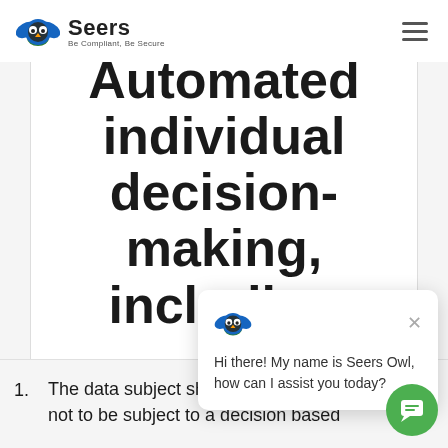Seers — Be Compliant, Be Secure
Automated individual decision-making, including profiling
[Figure (screenshot): Seers Owl chatbot popup with message: Hi there! My name is Seers Owl, how can I assist you today?]
1. The data subject shall have the right not to be subject to a decision based